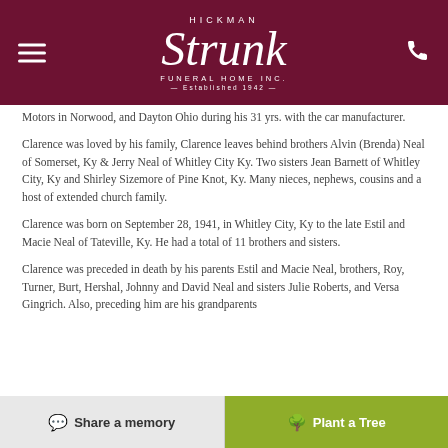[Figure (logo): Hickman Strunk Funeral Home Inc. logo on dark red/maroon background with decorative script lettering, hamburger menu icon on left, phone icon on right]
Motors in Norwood, and Dayton Ohio during his 31 yrs. with the car manufacturer.
Clarence was loved by his family, Clarence leaves behind brothers Alvin (Brenda) Neal of Somerset, Ky & Jerry Neal of Whitley City Ky. Two sisters Jean Barnett of Whitley City, Ky and Shirley Sizemore of Pine Knot, Ky. Many nieces, nephews, cousins and a host of extended church family.
Clarence was born on September 28, 1941, in Whitley City, Ky to the late Estil and Macie Neal of Tateville, Ky. He had a total of 11 brothers and sisters.
Clarence was preceded in death by his parents Estil and Macie Neal, brothers, Roy, Turner, Burt, Hershal, Johnny and David Neal and sisters Julie Roberts, and Versa Gingrich. Also, preceding him are his grandparents
Share a memory   Plant a Tree